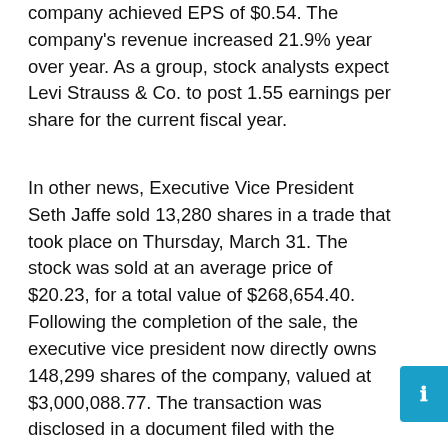company achieved EPS of $0.54. The company's revenue increased 21.9% year over year. As a group, stock analysts expect Levi Strauss & Co. to post 1.55 earnings per share for the current fiscal year.
In other news, Executive Vice President Seth Jaffe sold 13,280 shares in a trade that took place on Thursday, March 31. The stock was sold at an average price of $20.23, for a total value of $268,654.40. Following the completion of the sale, the executive vice president now directly owns 148,299 shares of the company, valued at $3,000,088.77. The transaction was disclosed in a document filed with the Securities & Exchange Commission, accessible via this hyperlink. 3.69% of the shares are currently held by company